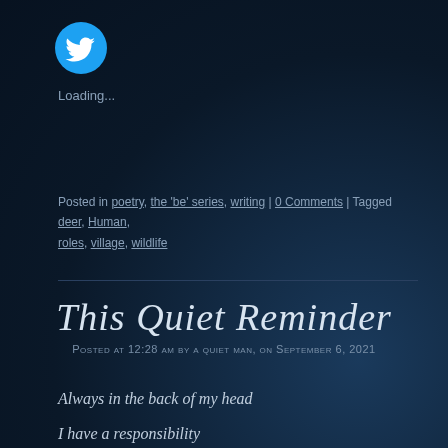[Figure (logo): Twitter bird logo in a cyan/light-blue circle]
Loading...
Posted in poetry, the 'be' series, writing | 0 Comments | Tagged deer, Human, roles, village, wildlife
This Quiet Reminder
Posted at 12:28 am by a quiet man, on September 6, 2021
Always in the back of my head
I have a responsibility